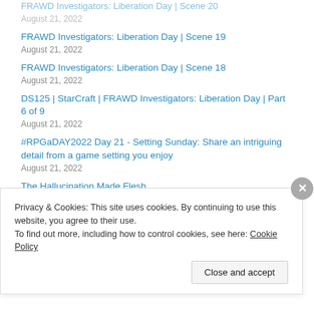FRAWD Investigators: Liberation Day | Scene 20
August 21, 2022
FRAWD Investigators: Liberation Day | Scene 19
August 21, 2022
FRAWD Investigators: Liberation Day | Scene 18
August 21, 2022
DS125 | StarCraft | FRAWD Investigators: Liberation Day | Part 6 of 9
August 21, 2022
#RPGaDAY2022 Day 21 - Setting Sunday: Share an intriguing detail from a game setting you enjoy
August 21, 2022
The Hallucination Made Flesh
August 21, 2022
Privacy & Cookies: This site uses cookies. By continuing to use this website, you agree to their use.
To find out more, including how to control cookies, see here: Cookie Policy
Close and accept